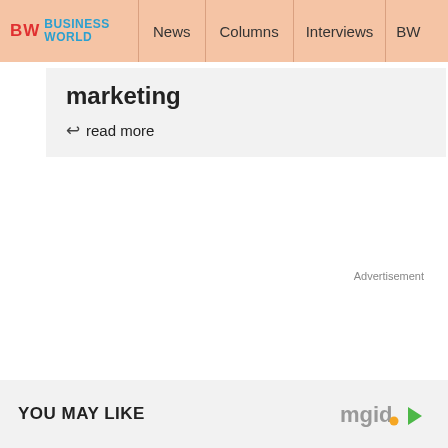BW BUSINESSWORLD | News | Columns | Interviews | BW
marketing
↩ read more
Advertisement
-->
YOU MAY LIKE